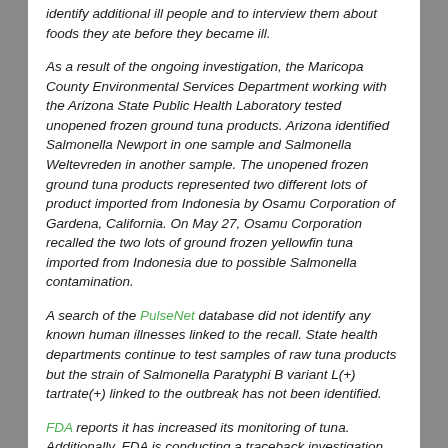identify additional ill people and to interview them about foods they ate before they became ill.
As a result of the ongoing investigation, the Maricopa County Environmental Services Department working with the Arizona State Public Health Laboratory tested unopened frozen ground tuna products. Arizona identified Salmonella Newport in one sample and Salmonella Weltevreden in another sample. The unopened frozen ground tuna products represented two different lots of product imported from Indonesia by Osamu Corporation of Gardena, California. On May 27, Osamu Corporation recalled the two lots of ground frozen yellowfin tuna imported from Indonesia due to possible Salmonella contamination.
A search of the PulseNet database did not identify any known human illnesses linked to the recall. State health departments continue to test samples of raw tuna products but the strain of Salmonella Paratyphi B variant L(+) tartrate(+) linked to the outbreak has not been identified.
FDA reports it has increased its monitoring of tuna. Additionally, FDA is conducting a traceback investigation. FDA is conducting a...